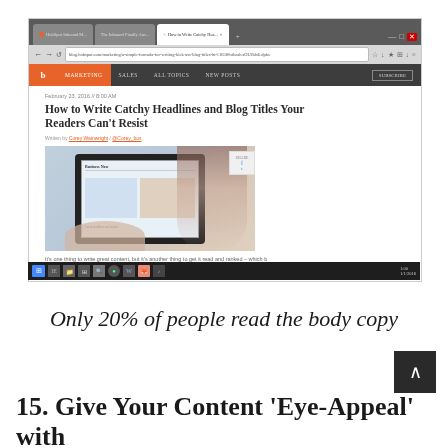[Figure (screenshot): Browser screenshot showing a HubSpot blog article titled 'How to Write Catchy Headlines and Blog Titles Your Readers Can't Resist', with a navigation bar, article header, and an image of a person using a tablet.]
Only 20% of people read the body copy
15. Give Your Content 'Eye-Appeal' with